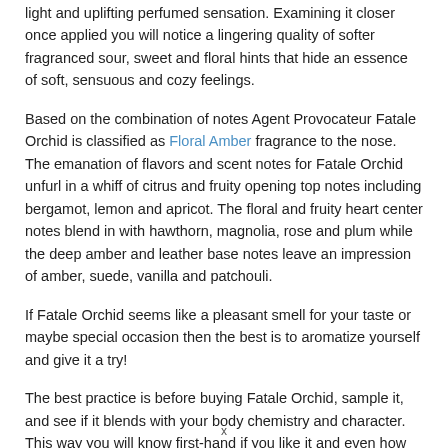light and uplifting perfumed sensation. Examining it closer once applied you will notice a lingering quality of softer fragranced sour, sweet and floral hints that hide an essence of soft, sensuous and cozy feelings.
Based on the combination of notes Agent Provocateur Fatale Orchid is classified as Floral Amber fragrance to the nose. The emanation of flavors and scent notes for Fatale Orchid unfurl in a whiff of citrus and fruity opening top notes including bergamot, lemon and apricot. The floral and fruity heart center notes blend in with hawthorn, magnolia, rose and plum while the deep amber and leather base notes leave an impression of amber, suede, vanilla and patchouli.
If Fatale Orchid seems like a pleasant smell for your taste or maybe special occasion then the best is to aromatize yourself and give it a try!
The best practice is before buying Fatale Orchid, sample it, and see if it blends with your body chemistry and character. This way you will know first-hand if you like it and even how long it lasts before making a decision. The more perfume reviews you read on Agent Provocateur Fatale Orchid from different people and especially experts who have the nose the better prepared for
x